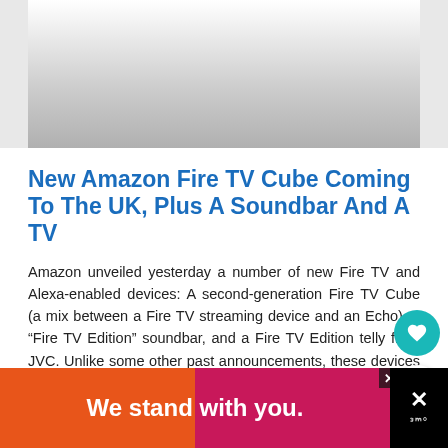[Figure (photo): Gray gradient image placeholder at the top of the article]
New Amazon Fire TV Cube Coming To The UK, Plus A Soundbar And A TV
Amazon unveiled yesterday a number of new Fire TV and Alexa-enabled devices: A second-generation Fire TV Cube (a mix between a Fire TV streaming device and an Echo), a “Fire TV Edition” soundbar, and a Fire TV Edition telly from JVC. Unlike some other past announcements, these devices will all
[Figure (infographic): We stand with you. advertisement banner at the bottom of the page]